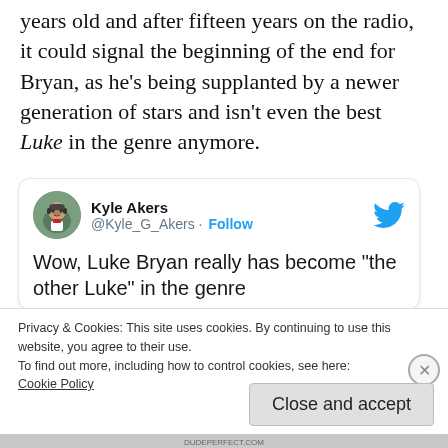years old and after fifteen years on the radio, it could signal the beginning of the end for Bryan, as he's being supplanted by a newer generation of stars and isn't even the best Luke in the genre anymore.
[Figure (screenshot): Screenshot of a tweet by Kyle Akers (@Kyle_G_Akers) with a Follow button and Twitter bird logo. Tweet text: Wow, Luke Bryan really has become "the other Luke" in the genre. A cookie consent overlay partially covers the tweet.]
Privacy & Cookies: This site uses cookies. By continuing to use this website, you agree to their use.
To find out more, including how to control cookies, see here: Cookie Policy